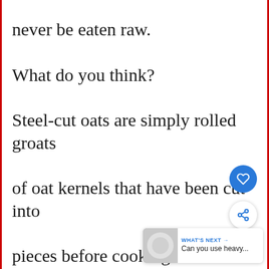never be eaten raw.
What do you think?
Steel-cut oats are simply rolled groats
of oat kernels that have been cut into
pieces before cooking.
They’re usually served cooked or cold